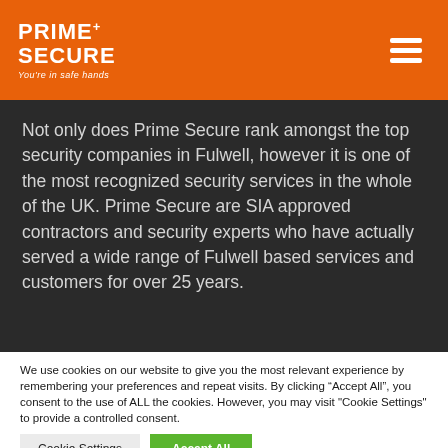PRIME+ SECURE You're in safe hands
Not only does Prime Secure rank amongst the top security companies in Fulwell, however it is one of the most recognized security services in the whole of the UK. Prime Secure are SIA approved contractors and security experts who have actually served a wide range of Fulwell based services and customers for over 25 years.
We use cookies on our website to give you the most relevant experience by remembering your preferences and repeat visits. By clicking “Accept All”, you consent to the use of ALL the cookies. However, you may visit "Cookie Settings" to provide a controlled consent.